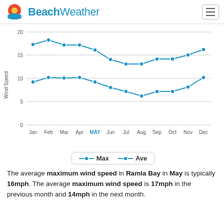BeachWeather
[Figure (line-chart): Wind Speed]
The average maximum wind speed in Ramla Bay in May is typically 16mph. The average maximum wind speed is 17mph in the previous month and 14mph in the next month.